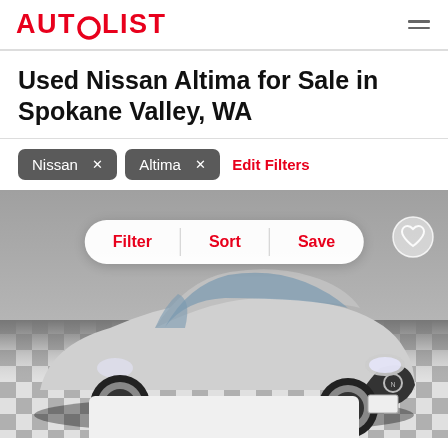AUTOLIST
Used Nissan Altima for Sale in Spokane Valley, WA
Nissan ×
Altima ×
Edit Filters
[Figure (photo): Silver Nissan Altima parked on a checkered floor in a dealership showroom, front 3/4 view. Overlay toolbar with Filter, Sort, Save buttons and a heart icon in top right.]